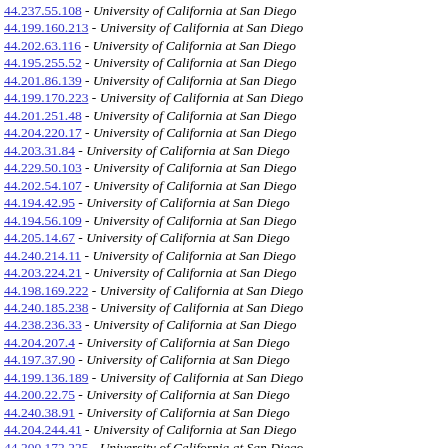44.237.55.108 - University of California at San Diego
44.199.160.213 - University of California at San Diego
44.202.63.116 - University of California at San Diego
44.195.255.52 - University of California at San Diego
44.201.86.139 - University of California at San Diego
44.199.170.223 - University of California at San Diego
44.201.251.48 - University of California at San Diego
44.204.220.17 - University of California at San Diego
44.203.31.84 - University of California at San Diego
44.229.50.103 - University of California at San Diego
44.202.54.107 - University of California at San Diego
44.194.42.95 - University of California at San Diego
44.194.56.109 - University of California at San Diego
44.205.14.67 - University of California at San Diego
44.240.214.11 - University of California at San Diego
44.203.224.21 - University of California at San Diego
44.198.169.222 - University of California at San Diego
44.240.185.238 - University of California at San Diego
44.238.236.33 - University of California at San Diego
44.204.207.4 - University of California at San Diego
44.197.37.90 - University of California at San Diego
44.199.136.189 - University of California at San Diego
44.200.22.75 - University of California at San Diego
44.240.38.91 - University of California at San Diego
44.204.244.41 - University of California at San Diego
44.200.172.225 - University of California at San Diego
44.238.247.44 - University of California at San Diego
44.196.229.26 - University of California at San Diego
44.202.119.172 - University of California at San Diego
44.202.100.152 - University of California at San Diego